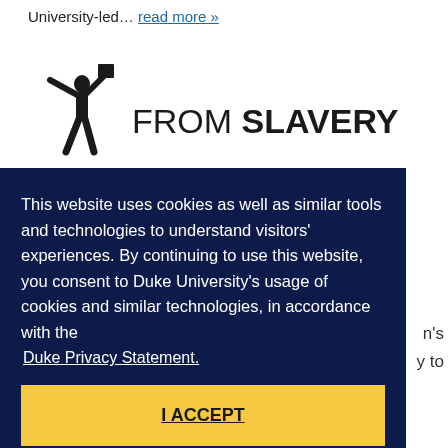University-led... read more »
[Figure (logo): From Slavery logo with silhouette figure raising arms holding a book above head, next to text reading FROM SLAVERY]
This website uses cookies as well as similar tools and technologies to understand visitors' experiences. By continuing to use this website, you consent to Duke University's usage of cookies and similar technologies, in accordance with the Duke Privacy Statement.
I ACCEPT
n's y to